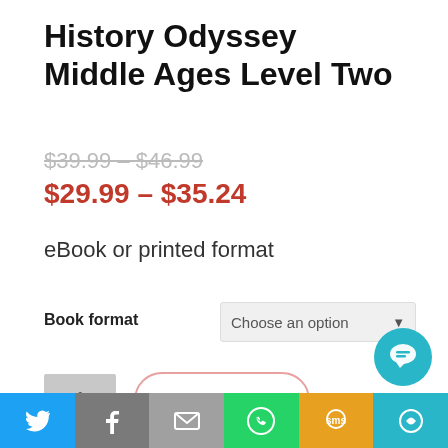History Odyssey Middle Ages Level Two
$39.99 – $46.99
$29.99 – $35.24
eBook or printed format
Book format
[Figure (screenshot): Dropdown selector showing 'Choose an option' with arrow]
[Figure (screenshot): Quantity box showing '1' and 'ADD TO CART' button]
[Figure (screenshot): Social share footer bar with Twitter, Facebook, Email, WhatsApp, SMS, and chat icons]